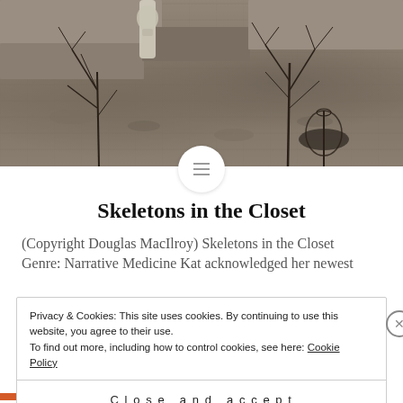[Figure (photo): Photograph of metal wire sculptures resembling skeletal or tree-like figures on a stone ground background]
Skeletons in the Closet
(Copyright Douglas MacIlroy) Skeletons in the Closet Genre: Narrative Medicine Kat acknowledged her newest
Privacy & Cookies: This site uses cookies. By continuing to use this website, you agree to their use.
To find out more, including how to control cookies, see here: Cookie Policy
Close and accept